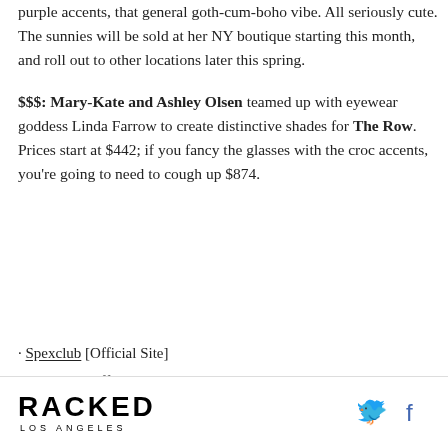purple accents, that general goth-cum-boho vibe. All seriously cute. The sunnies will be sold at her NY boutique starting this month, and roll out to other locations later this spring.
$$$: Mary-Kate and Ashley Olsen teamed up with eyewear goddess Linda Farrow to create distinctive shades for The Row. Prices start at $442; if you fancy the glasses with the croc accents, you're going to need to cough up $874.
· Spexclub [Official Site]
· Anna Sui [Official Site]
· The Row [Official Site]
RACKED LOS ANGELES